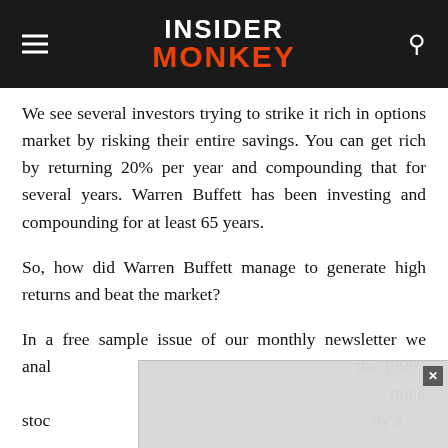INSIDER MONKEY
We see several investors trying to strike it rich in options market by risking their entire savings. You can get rich by returning 20% per year and compounding that for several years. Warren Buffett has been investing and compounding for at least 65 years.
So, how did Warren Buffett manage to generate high returns and beat the market?
In a free sample issue of our monthly newsletter we analyzed Warren Buffett's stock picks covering the 1999... [continues] ...ming stocks in Warren Buffett's portfolio. This is basically a